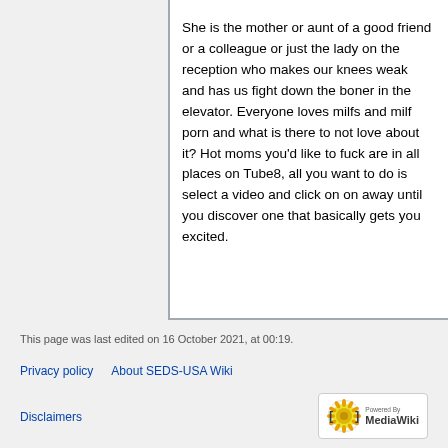She is the mother or aunt of a good friend or a colleague or just the lady on the reception who makes our knees weak and has us fight down the boner in the elevator. Everyone loves milfs and milf porn and what is there to not love about it? Hot moms you'd like to fuck are in all places on Tube8, all you want to do is select a video and click on on away until you discover one that basically gets you excited.
This page was last edited on 16 October 2021, at 00:19.
Privacy policy   About SEDS-USA Wiki   Disclaimers